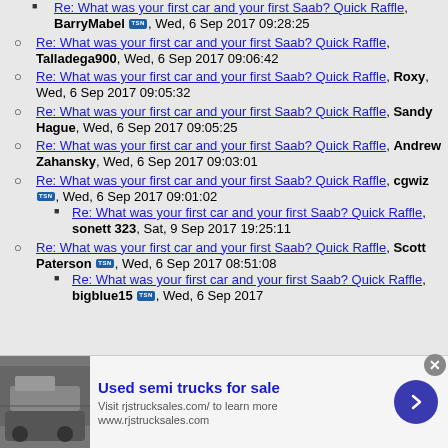Re: What was your first car and your first Saab? Quick Raffle, BarryMabel [badge], Wed, 6 Sep 2017 09:28:25
Re: What was your first car and your first Saab? Quick Raffle, Talladega900, Wed, 6 Sep 2017 09:06:42
Re: What was your first car and your first Saab? Quick Raffle, Roxy, Wed, 6 Sep 2017 09:05:32
Re: What was your first car and your first Saab? Quick Raffle, Sandy Hague, Wed, 6 Sep 2017 09:05:25
Re: What was your first car and your first Saab? Quick Raffle, Andrew Zahansky, Wed, 6 Sep 2017 09:03:01
Re: What was your first car and your first Saab? Quick Raffle, cgwiz [badge], Wed, 6 Sep 2017 09:01:02
Re: What was your first car and your first Saab? Quick Raffle, sonett 323, Sat, 9 Sep 2017 19:25:11
Re: What was your first car and your first Saab? Quick Raffle, Scott Paterson [badge], Wed, 6 Sep 2017 08:51:08
Re: What was your first car and your first Saab? Quick Raffle, bigblue15 [badge], Wed, 6 Sep 2017
[Figure (infographic): Advertisement banner for Used semi trucks for sale, rjstrucksales.com, with truck image, arrow button, and close button]